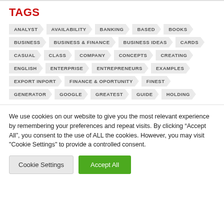TAGS
ANALYST
AVAILABILITY
BANKING
BASED
BOOKS
BUSINESS
BUSINESS & FINANCE
BUSINESS IDEAS
CARDS
CASUAL
CLASS
COMPANY
CONCEPTS
CREATING
ENGLISH
ENTERPRISE
ENTREPRENEURS
EXAMPLES
EXPORT INPORT
FINANCE & OPORTUNITY
FINEST
GENERATOR
GOOGLE
GREATEST
GUIDE
HOLDING
We use cookies on our website to give you the most relevant experience by remembering your preferences and repeat visits. By clicking “Accept All”, you consent to the use of ALL the cookies. However, you may visit "Cookie Settings" to provide a controlled consent.